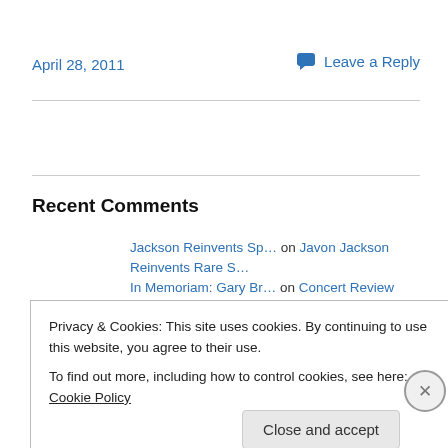April 28, 2011
💬 Leave a Reply
Recent Comments
Jackson Reinvents Sp… on Javon Jackson Reinvents Rare S…
In Memoriam: Gary Br… on Concert Review from the Archiv…
Privacy & Cookies: This site uses cookies. By continuing to use this website, you agree to their use.
To find out more, including how to control cookies, see here: Cookie Policy
Close and accept
Advertisements